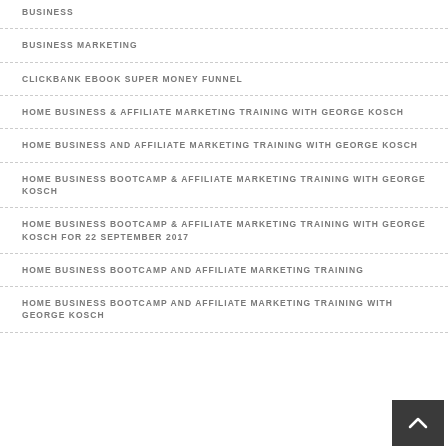BUSINESS
BUSINESS MARKETING
CLICKBANK EBOOK SUPER MONEY FUNNEL
HOME BUSINESS & AFFILIATE MARKETING TRAINING WITH GEORGE KOSCH
HOME BUSINESS AND AFFILIATE MARKETING TRAINING WITH GEORGE KOSCH
HOME BUSINESS BOOTCAMP & AFFILIATE MARKETING TRAINING WITH GEORGE KOSCH
HOME BUSINESS BOOTCAMP & AFFILIATE MARKETING TRAINING WITH GEORGE KOSCH FOR 22 SEPTEMBER 2017
HOME BUSINESS BOOTCAMP AND AFFILIATE MARKETING TRAINING
HOME BUSINESS BOOTCAMP AND AFFILIATE MARKETING TRAINING WITH GEORGE KOSCH